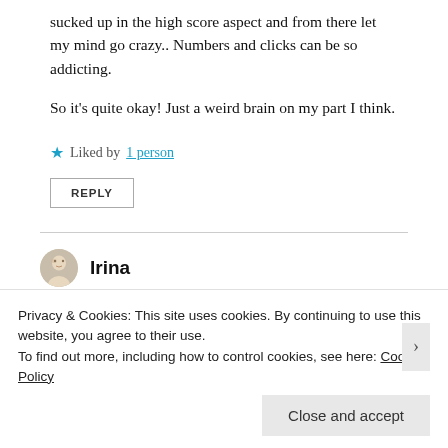sucked up in the high score aspect and from there let my mind go crazy.. Numbers and clicks can be so addicting.
So it’s quite okay! Just a weird brain on my part I think.
★ Liked by 1 person
REPLY
Irina
Privacy & Cookies: This site uses cookies. By continuing to use this website, you agree to their use.
To find out more, including how to control cookies, see here: Cookie Policy
Close and accept